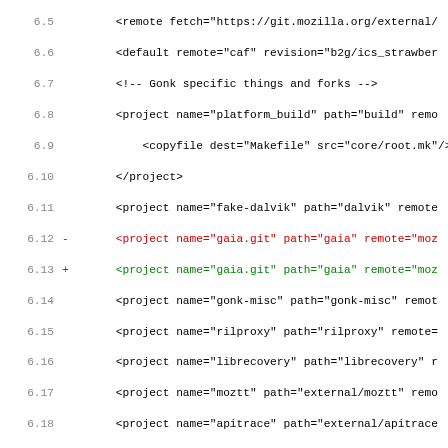Code diff showing changes to b2g/config sources XML files, lines 6.5-7.15+